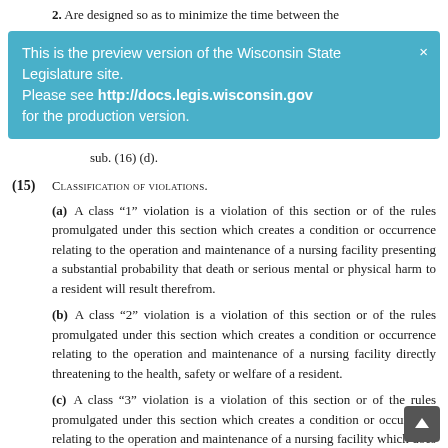2. Are designed so as to minimize the time between the
This is the preview version of the Wisconsin State Legislature site. Please see http://docs.legis.wisconsin.gov for the production version.
sub. (16) (d).
(15) Classification of violations.
(a) A class “1” violation is a violation of this section or of the rules promulgated under this section which creates a condition or occurrence relating to the operation and maintenance of a nursing facility presenting a substantial probability that death or serious mental or physical harm to a resident will result therefrom.
(b) A class “2” violation is a violation of this section or of the rules promulgated under this section which creates a condition or occurrence relating to the operation and maintenance of a nursing facility directly threatening to the health, safety or welfare of a resident.
(c) A class “3” violation is a violation of this section or of the rules promulgated under this section which creates a condition or occurrence relating to the operation and maintenance of a nursing facility which does not directly threaten the health, safety or welfare of a resident.
(d) Each day of violation constitutes a separate violation. The